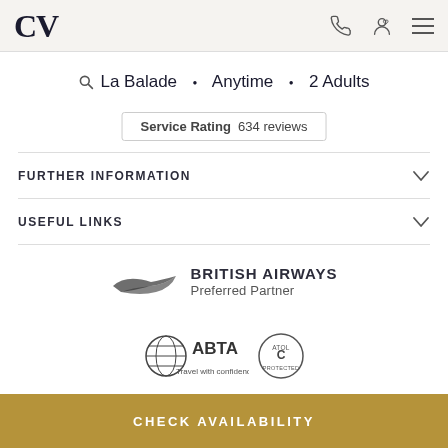CV
La Balade • Anytime • 2 Adults
Service Rating  634 reviews
FURTHER INFORMATION
USEFUL LINKS
[Figure (logo): British Airways Preferred Partner logo with stylised speedwing]
[Figure (logo): ABTA Travel with confidence logo and ATOL Protected badge]
CHECK AVAILABILITY